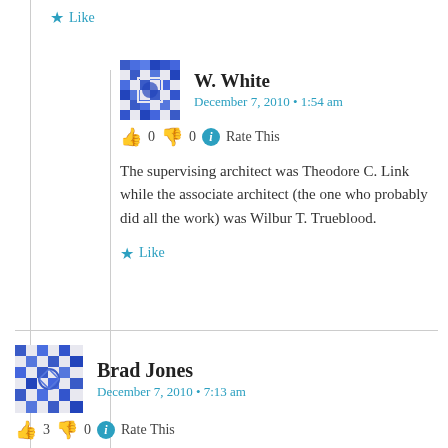Like
W. White
December 7, 2010 • 1:54 am
👍 0 👎 0 ℹ Rate This
The supervising architect was Theodore C. Link while the associate architect (the one who probably did all the work) was Wilbur T. Trueblood.
Like
Brad Jones
December 7, 2010 • 7:13 am
👍 3 👎 0 ℹ Rate This
I would like to add Mount Helena, Rolling Fork.
Like